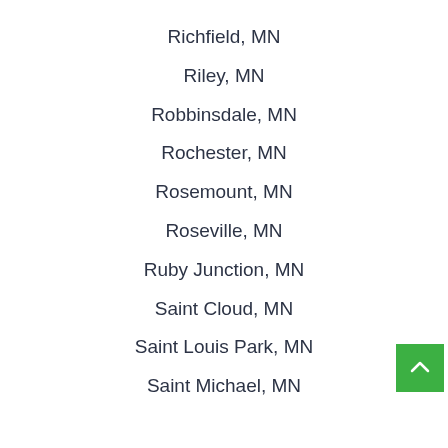Richfield, MN
Riley, MN
Robbinsdale, MN
Rochester, MN
Rosemount, MN
Roseville, MN
Ruby Junction, MN
Saint Cloud, MN
Saint Louis Park, MN
Saint Michael, MN